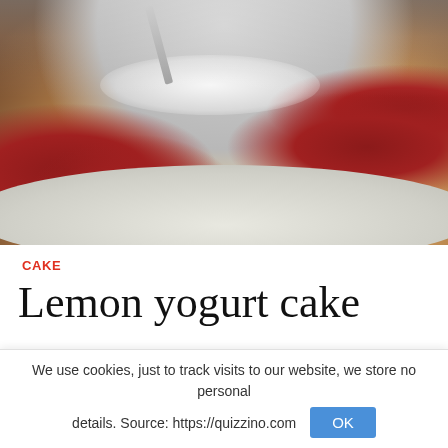[Figure (photo): A slice of lemon yogurt cake dusted with powdered sugar on a white plate, with a fork inserted at the top and red currants as garnish on the sides.]
CAKE
Lemon yogurt cake
We use cookies, just to track visits to our website, we store no personal details. Source: https://quizzino.com